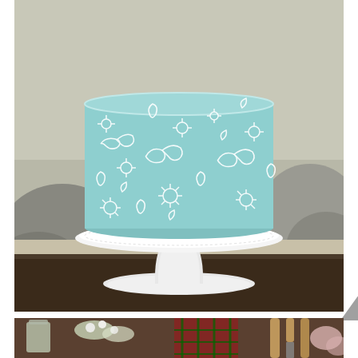[Figure (photo): A light blue single-tier wedding cake decorated with white piped floral and paisley lace patterns, displayed on a white pedestal cake stand, placed on a dark wooden table with rocks and sandy background.]
[Figure (photo): Bottom portion of a table setting with flowers, greenery, plaid fabric, and wooden-handled utensils visible.]